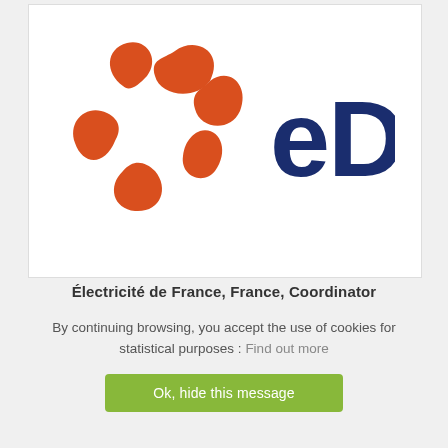[Figure (logo): EDF logo: orange pinwheel/flower symbol made of five curved petal shapes on the left, and bold dark navy blue text 'eDF' on the right, inside a white rectangular box with light border.]
Électricité de France, France, Coordinator
By continuing browsing, you accept the use of cookies for statistical purposes : Find out more
Ok, hide this message